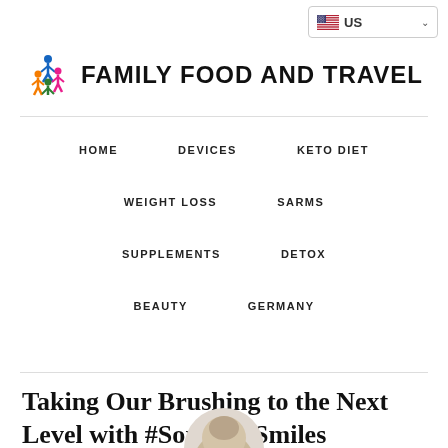US
FAMILY FOOD AND TRAVEL
HOME
DEVICES
KETO DIET
WEIGHT LOSS
SARMS
SUPPLEMENTS
DETOX
BEAUTY
GERMANY
Taking Our Brushing to the Next Level with #SonicareSmiles
[Figure (illustration): Partial circular image at bottom of page, appears to be a person with a dental/oral care theme]